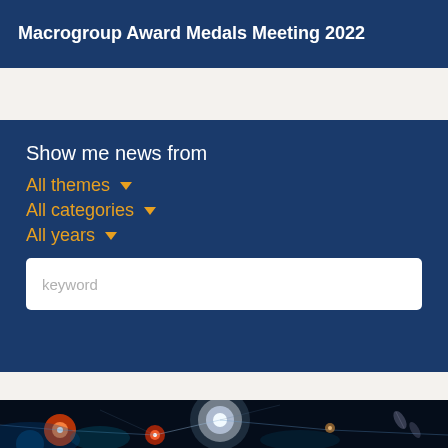Macrogroup Award Medals Meeting 2022
Show me news from
All themes
All categories
All years
keyword
[Figure (photo): Scientific image showing a glowing brain or neural network with colorful light orbs against a dark background, with molecular/pill structures visible at the edges.]